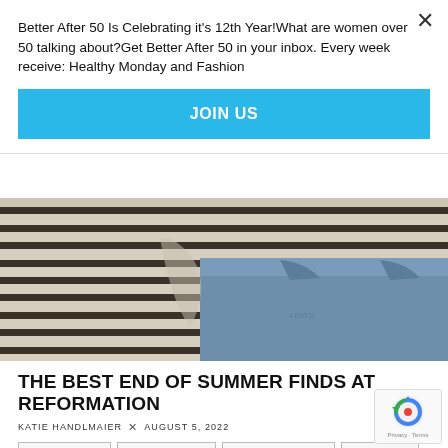Better After 50 Is Celebrating it's 12th Year!What are women over 50 talking about?Get Better After 50 in your inbox. Every week receive: Healthy Monday and Fashion
JOIN US
[Figure (photo): Close-up of a person wearing a cream-colored Breton-stripe long-sleeve top tucked into blue denim shorts with a visible waistband]
THE BEST END OF SUMMER FINDS AT REFORMATION
KATIE HANDLMAIER × AUGUST 5, 2022
FASHION FRIDAY  FASHION OVER 50  FEATURED ARTICLES  0 COMMENTS